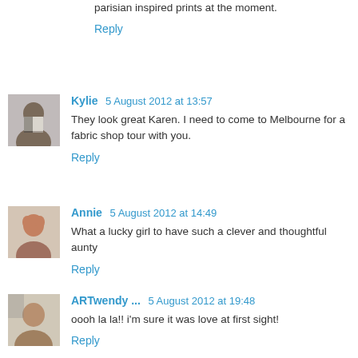parisian inspired prints at the moment.
Reply
Kylie  5 August 2012 at 13:57
They look great Karen. I need to come to Melbourne for a fabric shop tour with you.
Reply
Annie  5 August 2012 at 14:49
What a lucky girl to have such a clever and thoughtful aunty
Reply
ARTwendy ...  5 August 2012 at 19:48
oooh la la!! i'm sure it was love at first sight!
Reply